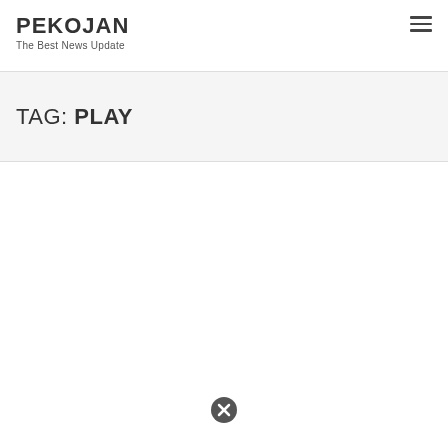PEKOJAN
The Best News Update
TAG: PLAY
[Figure (other): Close/dismiss button icon (circle with X)]